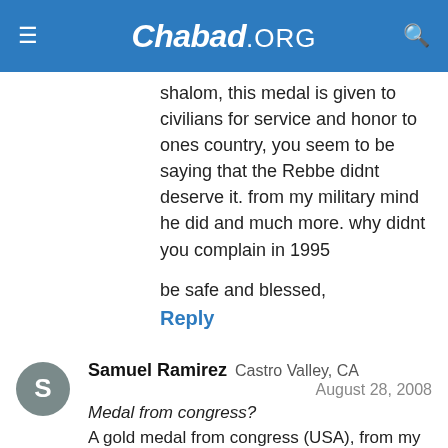Chabad.ORG
shalom, this medal is given to civilians for service and honor to ones country, you seem to be saying that the Rebbe didnt deserve it. from my military mind he did and much more. why didnt you complain in 1995
be safe and blessed,
Reply
Samuel Ramirez  Castro Valley, CA  August 28, 2008
Medal from congress? A gold medal from congress (USA), from my perspective, is demeaning and certainly not a symbol that brings honor to a man of accomplishment like Rabbi Menachem Mendel Schneerson.